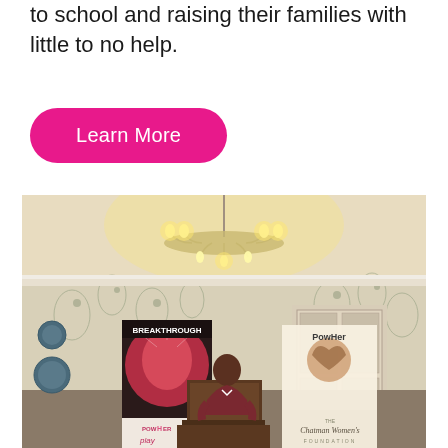to school and raising their families with little to no help.
Learn More
[Figure (photo): A woman stands at a podium speaking at an indoor event in a room with floral wallpaper and a chandelier. Behind her are two banner stands: one reading 'BREAKTHROUGH' and 'POWHER play', and another reading 'PowHer' and 'Chatman Women's Foundation'.]